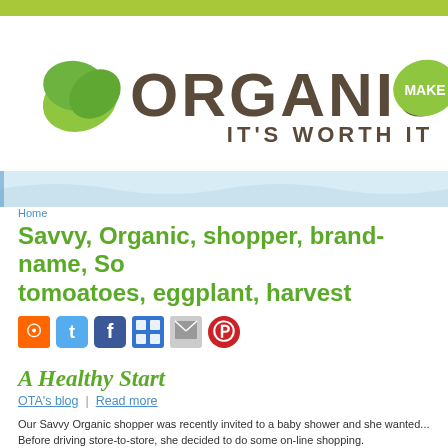[Figure (logo): Organic It's Worth It logo with green leaf icon, brown text, and green Make badge]
Home
Savvy, Organic, shopper, brand-name, Sc tomoatoes, eggplant, harvest
[Figure (infographic): Social sharing icons: RSS, Twitter, Facebook, Delicious, email, Pinterest]
A Healthy Start
OTA's blog  |  Read more
Our Savvy Organic shopper was recently invited to a baby shower and she wanted... Before driving store-to-store, she decided to do some on-line shopping.
Submitted by OTA on Mon, 2012-03-19 14:32
Well Worth It...